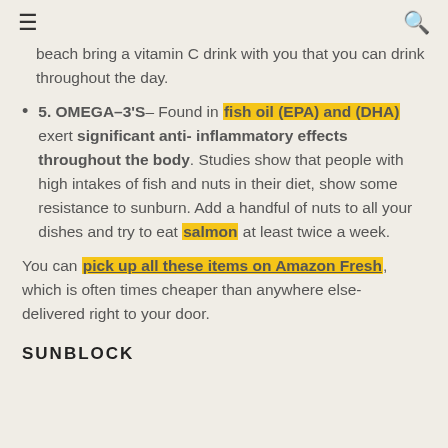≡   🔍
beach bring a vitamin C drink with you that you can drink throughout the day.
5. OMEGA–3'S – Found in fish oil (EPA) and (DHA) exert significant anti- inflammatory effects throughout the body. Studies show that people with high intakes of fish and nuts in their diet, show some resistance to sunburn. Add a handful of nuts to all your dishes and try to eat salmon at least twice a week.
You can pick up all these items on Amazon Fresh, which is often times cheaper than anywhere else- delivered right to your door.
SUNBLOCK